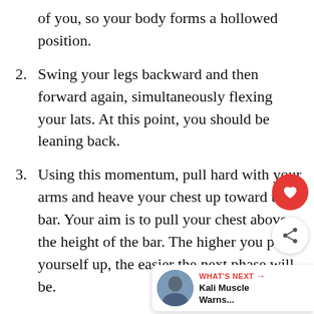of you, so your body forms a hollowed position.
2. Swing your legs backward and then forward again, simultaneously flexing your lats. At this point, you should be leaning back.
3. Using this momentum, pull hard with your arms and heave your chest up toward the bar. Your aim is to pull your chest above the height of the bar. The higher you pull yourself up, the easier the next phase will be.
4. As you feel your weight rise up and over the bar, roll your hands forward and then transition from a pull to a push. Do this by leaning forward over the bar and extending until your elbows are straight and supporting your weight on top of the bar.
[Figure (infographic): Social media overlay with heart/like button (red circle), share button (white circle), and a 'What's Next' banner showing 'Kali Muscle Warns...' with a thumbnail image.]